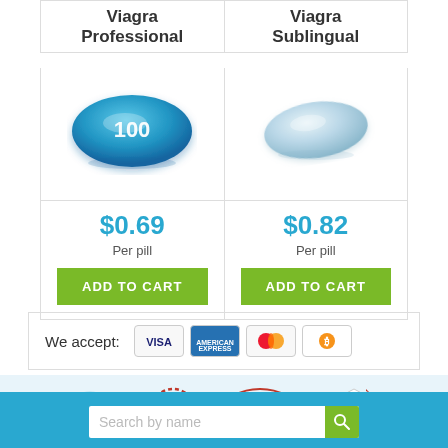Viagra Professional
Viagra Sublingual
[Figure (illustration): Blue oval pill with '100' printed on it]
[Figure (illustration): Light blue/grey diamond-shaped pill]
$0.69
Per pill
ADD TO CART
$0.82
Per pill
ADD TO CART
We accept:
[Figure (logo): Payment method logos: Visa, American Express, Mastercard, Bitcoin]
[Figure (logo): Certification logos: Worldwide, CPA Approved, CIPAR Certified Canadian International Pharmacy, MIPA]